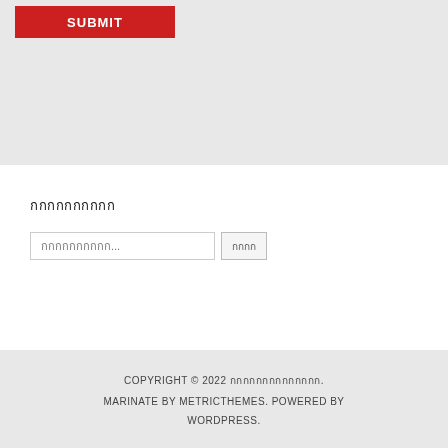[Figure (screenshot): Red SUBMIT button on grey background]
กกกกกกกกกก
กกกกกกกกกก...  [search input] [กกกก]
COPYRIGHT © 2022 กกกกกกกกกกกกกก. MARINATE BY METRICTHEMES. POWERED BY WORDPRESS.